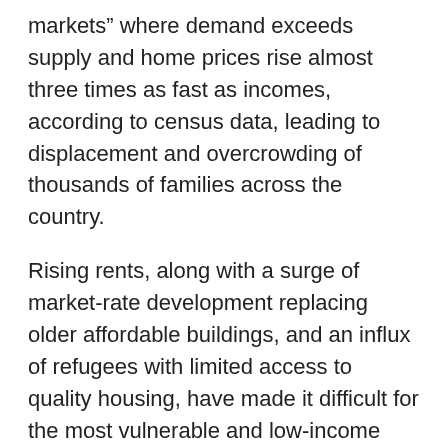markets” where demand exceeds supply and home prices rise almost three times as fast as incomes, according to census data, leading to displacement and overcrowding of thousands of families across the country.
Rising rents, along with a surge of market-rate development replacing older affordable buildings, and an influx of refugees with limited access to quality housing, have made it difficult for the most vulnerable and low-income populations to find housing.
In the Chinatown-International District (C-ID), 25 percent of its residents are seniors, 34 percent live in poverty, and many speak limited or no English. It is adjacent to downtown Seattle, where land values average $4 million per parcel and $250 per square